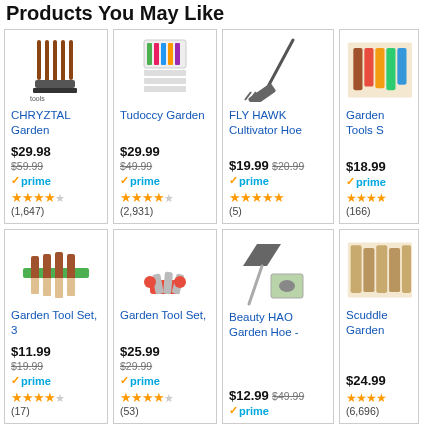Products You May Like
[Figure (photo): CHRYZTAL Garden tools set product image]
CHRYZTAL Garden
$29.98  $59.99  prime  ★★★★½  (1,647)
[Figure (photo): Tudoccy Garden tools set product image]
Tudoccy Garden
$29.99  $49.99  prime  ★★★★½  (2,931)
[Figure (photo): FLY HAWK Cultivator Hoe product image]
FLY HAWK Cultivator Hoe
$19.99  $20.99  prime  ★★★★★  (5)
[Figure (photo): Garden Tools Set product image (partially visible)]
Garden Tools S
$18.99  prime  ★★★★  (166)
[Figure (photo): Garden Tool Set 3 piece product image]
Garden Tool Set, 3
$11.99  $19.99  prime  ★★★★½  (17)
[Figure (photo): Garden Tool Set product image]
Garden Tool Set,
$25.99  $29.99  prime  ★★★★½  (53)
[Figure (photo): Beauty HAO Garden Hoe product image]
Beauty HAO Garden Hoe -
$12.99  $49.99  prime
[Figure (photo): Scuddle Garden tools product image (partially visible)]
Scuddle Garden
$24.99  ★★★★  (6,696)